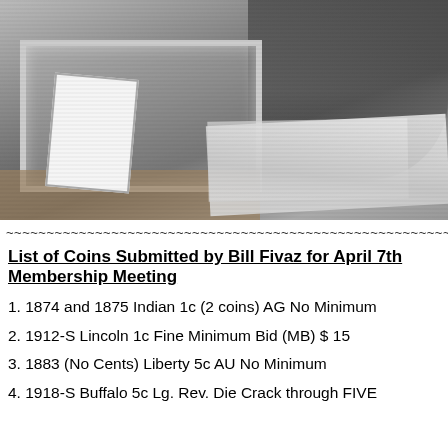[Figure (photo): Black and white photograph showing a coin show or numismatic meeting. In the foreground is a glass display case on a table. On the right side are stacks of papers/pamphlets. In the background are people standing. A small pamphlet/booklet is visible on the left side of the table.]
~~~~~~~~~~~~~~~~~~~~~~~~~~~~~~~~~~~~~~~~~~~~~~~~~~~~~~~~~~~~~~~~
List of Coins Submitted by Bill Fivaz for April 7th Membership Meeting
1. 1874 and 1875 Indian 1c (2 coins) AG No Minimum
2. 1912-S Lincoln 1c Fine Minimum Bid (MB) $ 15
3. 1883 (No Cents) Liberty 5c AU No Minimum
4. 1918-S Buffalo 5c Lg. Rev. Die Crack through FIVE